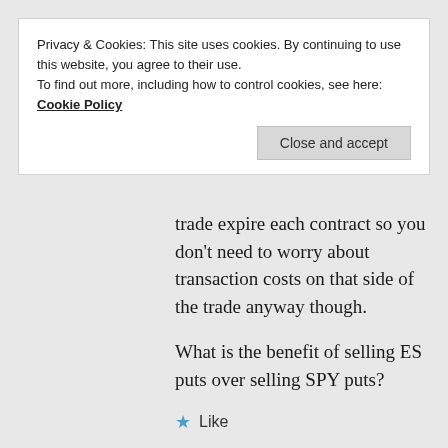Privacy & Cookies: This site uses cookies. By continuing to use this website, you agree to their use.
To find out more, including how to control cookies, see here: Cookie Policy
Close and accept
trade expire each contract so you don't need to worry about transaction costs on that side of the trade anyway though.
What is the benefit of selling ES puts over selling SPY puts?
Like
Reply
ZACHARY NELSON